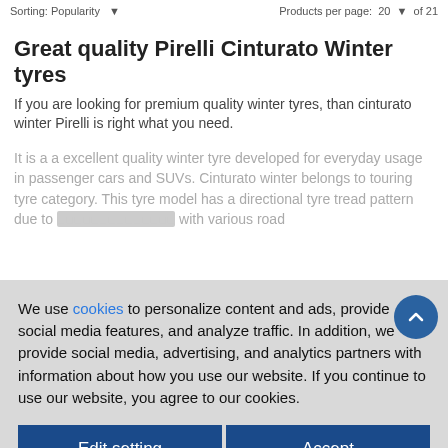Sorting: Popularity   Products per page: 20   of 21
Great quality Pirelli Cinturato Winter tyres
If you are looking for premium quality winter tyres, than cinturato winter Pirelli is right what you need.
It is a a excellent quality winter tyre developed for everyday usage in passenger cars and SUVs. Cinturato winter belongs to touring tyre category. This tyre model has a directional tyre tread pattern due to ... with various road
We use cookies to personalize content and ads, provide social media features, and analyze traffic. In addition, we provide social media, advertising, and analytics partners with information about how you use our website. If you continue to use our website, you agree to our cookies.
Edit setting
Accept